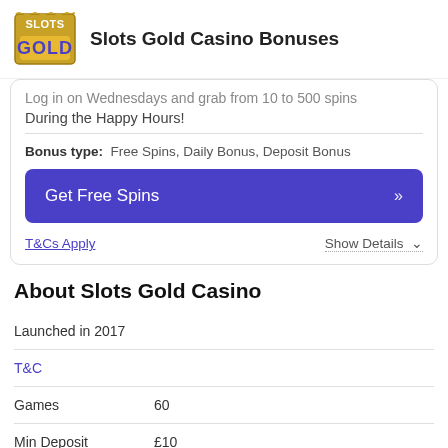Slots Gold Casino Bonuses
Log in on Wednesdays and grab from 10 to 500 spins During the Happy Hours!
Bonus type: Free Spins, Daily Bonus, Deposit Bonus
Get Free Spins »
T&Cs Apply
Show Details ∨
About Slots Gold Casino
Launched in 2017
T&C
Games    60
Min Deposit    £10
Min Withdrawal    £10